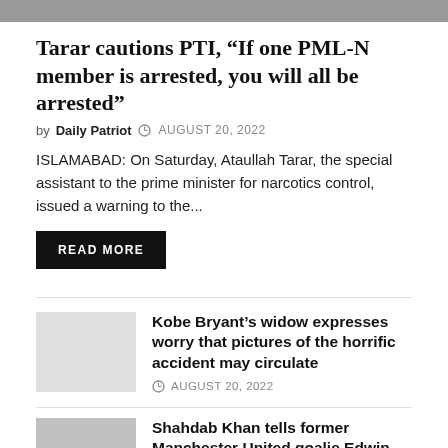[Figure (photo): Top image partial, cropped at top showing two figures]
Tarar cautions PTI, “If one PML-N member is arrested, you will all be arrested”
by Daily Patriot ○ AUGUST 20, 2022
ISLAMABAD: On Saturday, Ataullah Tarar, the special assistant to the prime minister for narcotics control, issued a warning to the…
READ MORE
Kobe Bryant’s widow expresses worry that pictures of the horrific accident may circulate
○ AUGUST 20, 2022
Shahdab Khan tells former Manchester United goalie Edwin van der Sar that Babar Azam is a “combination of Ronaldo, Messi”
○ AUGUST 20, 2022